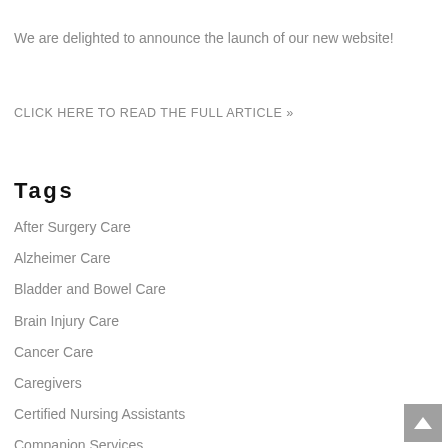We are delighted to announce the launch of our new website!
CLICK HERE TO READ THE FULL ARTICLE »
Tags
After Surgery Care
Alzheimer Care
Bladder and Bowel Care
Brain Injury Care
Cancer Care
Caregivers
Certified Nursing Assistants
Companion Services